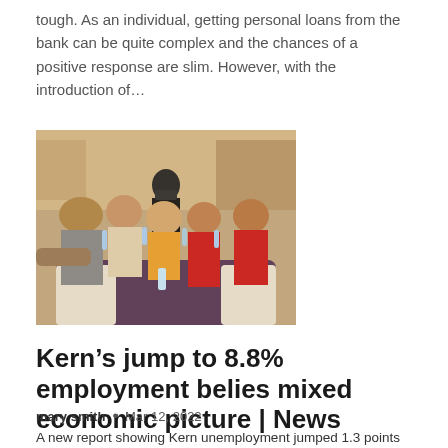tough. As an individual, getting personal loans from the bank can be quite complex and the chances of a positive response are slim. However, with the introduction of...
[Figure (photo): Group of people at a restaurant table raising glasses in a toast, with a masked server standing behind them.]
Kern’s jump to 8.8% employment belies mixed economic picture | News
mary smith • Mar 12, 2022
A new report showing Kern unemployment jumped 1.3 points between December and January gives a mixed view of...